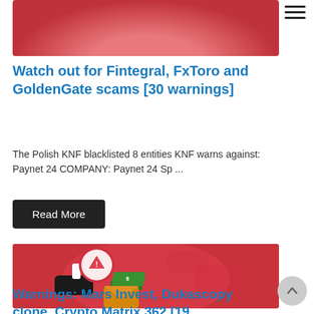[Figure (illustration): Partially visible red background illustration (top of article image, cropped)]
Watch out for Fintegral, FxToro and GoldenGate scams [30 warnings]
The Polish KNF blacklisted 8 entities KNF warns against: Paynet 24 COMPANY: Paynet 24 Sp ...
Read More
[Figure (illustration): Red background illustration showing a hand holding a magnifying glass with a warning triangle symbol over a stack of money and gold coins, with a world map in the background]
Warnings: Mars Invest, Dukascopy clone, Crypto Matrix 362 [19